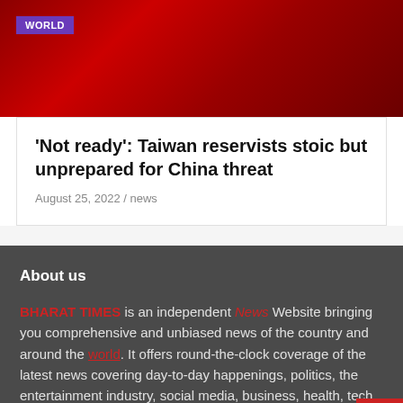[Figure (photo): Red background image with dark red floral/abstract pattern]
'Not ready': Taiwan reservists stoic but unprepared for China threat
August 25, 2022 / news
About us
BHARAT TIMES is an independent News Website bringing you comprehensive and unbiased news of the country and around the world. It offers round-the-clock coverage of the latest news covering day-to-day happenings, politics, the entertainment industry, social media, business, health, tech, and many more.